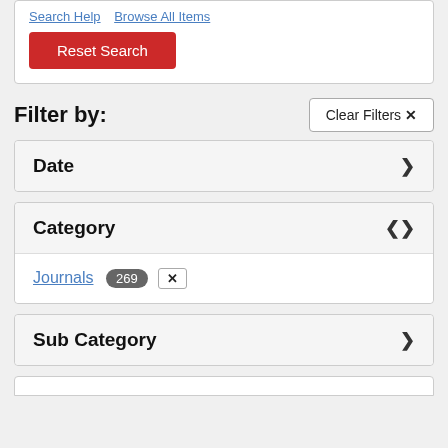Search Help  Browse All Items
Reset Search
Filter by:
Clear Filters ✕
Date
Category
Journals 269 ✕
Sub Category